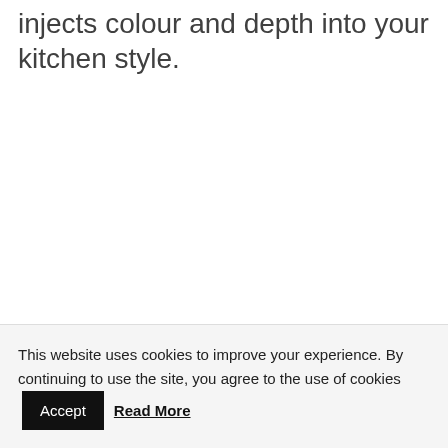injects colour and depth into your kitchen style.
This website uses cookies to improve your experience. By continuing to use the site, you agree to the use of cookies Accept Read More